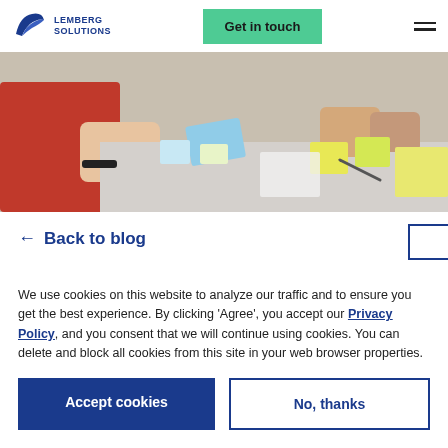Lemberg Solutions | Get in touch
[Figure (photo): People working collaboratively at a table with sticky notes and cards, hands visible handling blue card.]
← Back to blog
We use cookies on this website to analyze our traffic and to ensure you get the best experience. By clicking 'Agree', you accept our Privacy Policy, and you consent that we will continue using cookies. You can delete and block all cookies from this site in your web browser properties.
Accept cookies
No, thanks